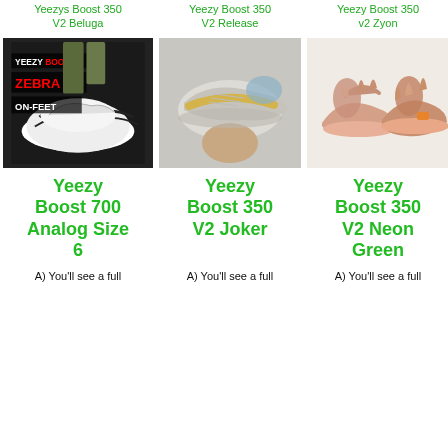Yeezys Boost 350 V2 Beluga
Yeezy Boost 350 V2 Release
Yeezy Boost 350 v2 Zyon
[Figure (photo): Yeezy Boost 350 V2 Zebra on-feet photo with text overlay YEEZY BOOST ZEBRA ON-FEET]
[Figure (photo): Yeezy Boost 350 V2 sneaker held in hand, gray/yellow colorway]
[Figure (photo): Yeezy Boost 350 v2 Zyon pair of sneakers, pink/tan colorway on white background]
Yeezy Boost 700 Analog Size 6
Yeezy Boost 350 V2 Joker
Yeezy Boost 350 V2 Neon Green
A) You'll see a full
A) You'll see a full
A) You'll see a full